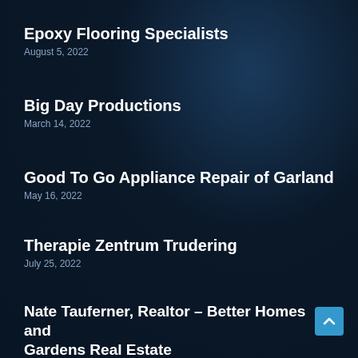Epoxy Flooring Specialists
August 5, 2022
Big Day Productions
March 14, 2022
Good To Go Appliance Repair of Garland
May 16, 2022
Therapie Zentrum Trudering
July 25, 2022
Nate Tauferner, Realtor – Better Homes and Gardens Real Estate
June 9, 2022